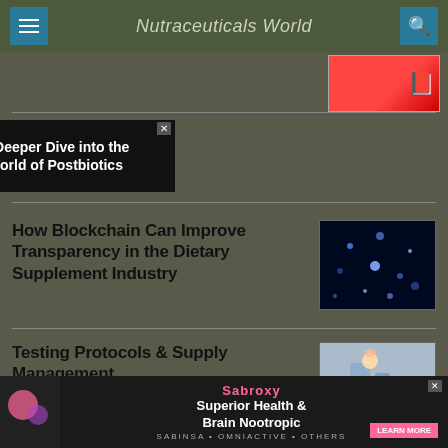Nutraceuticals World
[Figure (screenshot): Top-right advertisement with red book icon]
[Figure (screenshot): Advertisement banner: A Deeper Dive into the World of Postbiotics]
How Blockchain Can Improve Transparency in the Dietary Supplement Industry
[Figure (photo): Dark blue bokeh image for blockchain article thumbnail]
Testing Protocols & Supply Management
[Figure (photo): Scientist with liquid dropper for testing protocols thumbnail]
[Figure (screenshot): Advertisement banner: Superior Health & Brain Nootropic — Sabroxy — Learn More]